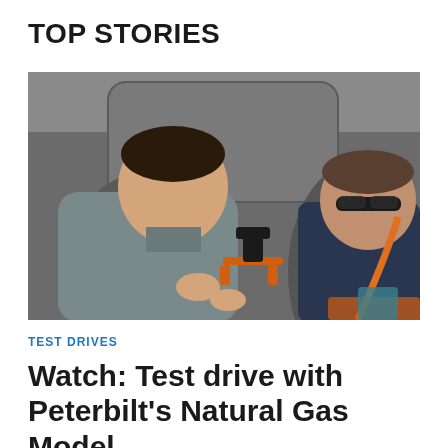TOP STORIES
[Figure (photo): Two men sitting inside the cab of a truck. The man on the left wears a gray button-up shirt and is gesturing with his hands. The man on the right wears a dark blue shirt and sunglasses, with an orange seatbelt across his chest. An orange camera rig is mounted between them.]
TEST DRIVES
Watch: Test drive with Peterbilt's Natural Gas Model